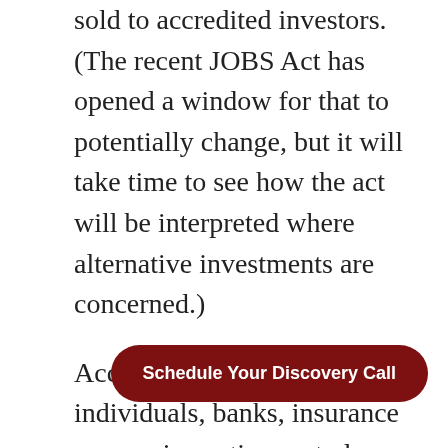sold to accredited investors. (The recent JOBS Act has opened a window for that to potentially change, but it will take time to see how the act will be interpreted where alternative investments are concerned.)
Accredited investors include individuals, banks, insurance companies, retirement plans, and trusts. For an
Schedule Your Discovery Call